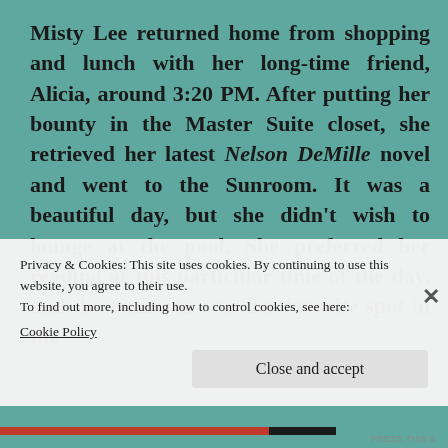Misty Lee returned home from shopping and lunch with her long-time friend, Alicia, around 3:20 PM. After putting her bounty in the Master Suite closet, she retrieved her latest Nelson DeMille novel and went to the Sunroom. It was a beautiful day, but she didn't wish to lounge at the pool. She preferred her reading at this particular time of the day, and the Sunroom was her favorite spot in the
Privacy & Cookies: This site uses cookies. By continuing to use this website, you agree to their use.
To find out more, including how to control cookies, see here:
Cookie Policy
Close and accept